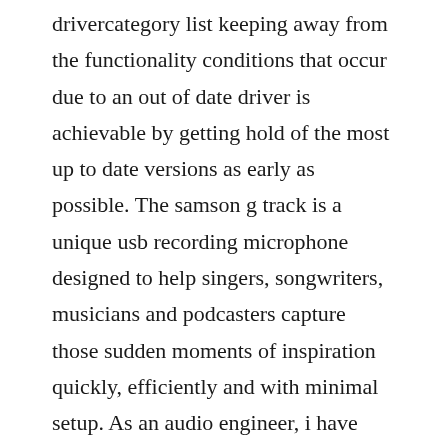drivercategory list keeping away from the functionality conditions that occur due to an out of date driver is achievable by getting hold of the most up to date versions as early as possible. The samson g track is a unique usb recording microphone designed to help singers, songwriters, musicians and podcasters capture those sudden moments of inspiration quickly, efficiently and with minimal setup. As an audio engineer, i have usually been one to avoid the use of usb microphones in comparison to their xlr brethren, however this is the microphone that